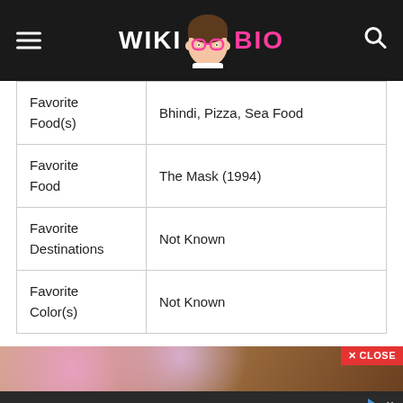WIKI BIO
| Favorite Food(s) | Bhindi, Pizza, Sea Food |
| Favorite Food | The Mask (1994) |
| Favorite Destinations | Not Known |
| Favorite Color(s) | Not Known |
[Figure (photo): Partial photo of a person, appears to be a woman with dark hair, with purple flowers in the background]
[Figure (screenshot): Advertisement banner: Download Helbiz and ride, shown on dark background with scooter image]